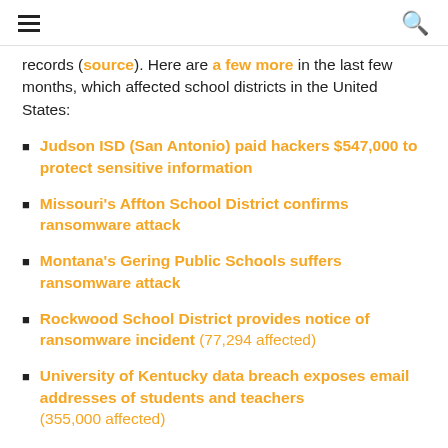☰  🔍
records (source). Here are a few more in the last few months, which affected school districts in the United States:
Judson ISD (San Antonio) paid hackers $547,000 to protect sensitive information
Missouri's Affton School District confirms ransomware attack
Montana's Gering Public Schools suffers ransomware attack
Rockwood School District provides notice of ransomware incident (77,294 affected)
University of Kentucky data breach exposes email addresses of students and teachers (355,000 affected)
New York City public school students exposed in